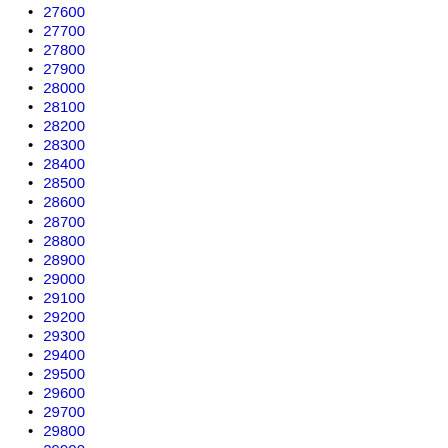27600
27700
27800
27900
28000
28100
28200
28300
28400
28500
28600
28700
28800
28900
29000
29100
29200
29300
29400
29500
29600
29700
29800
29900
30000
30100
30200
30300
30400